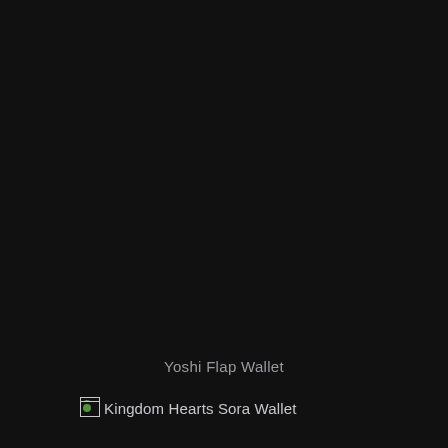Yoshi Flap Wallet
[Figure (other): Broken image placeholder for Kingdom Hearts Sora Wallet, showing a small broken image icon with a green circle]
Kingdom Hearts Sora Wallet